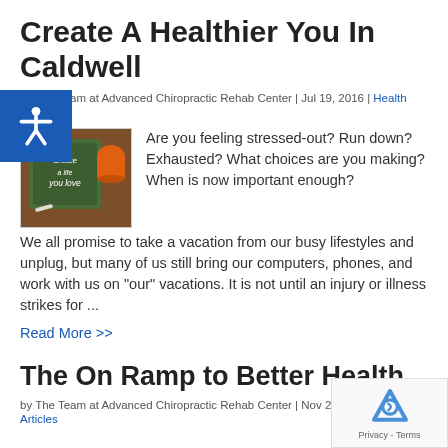Create A Healthier You In Caldwell
by The Team at Advanced Chiropractic Rehab Center | Jul 19, 2016 | Health Articles
[Figure (photo): Chalkboard sign reading 'Create a life you love' with chalk and an orange cup]
Are you feeling stressed-out? Run down? Exhausted? What choices are you making? When is now important enough? We all promise to take a vacation from our busy lifestyles and unplug, but many of us still bring our computers, phones, and work with us on "our" vacations. It is not until an injury or illness strikes for ...
Read More >>
The On Ramp to Better Health
by The Team at Advanced Chiropractic Rehab Center | Nov 20, 2014 | Health Articles